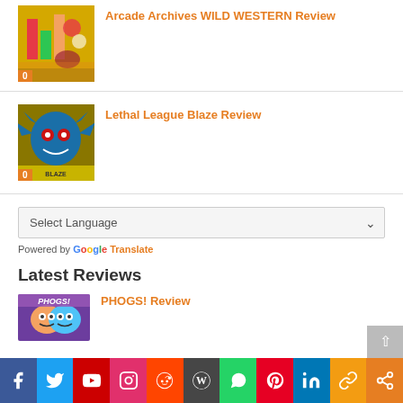[Figure (screenshot): Thumbnail for Arcade Archives WILD WESTERN game review with orange badge '0']
Arcade Archives WILD WESTERN Review
[Figure (screenshot): Thumbnail for Lethal League Blaze game review with orange badge '0']
Lethal League Blaze Review
Select Language
Powered by Google Translate
Latest Reviews
[Figure (screenshot): Thumbnail for PHOGS! Review]
PHOGS! Review
[Figure (screenshot): Social media share bar with Facebook, Twitter, YouTube, Instagram, Reddit, WordPress, WhatsApp, Pinterest, LinkedIn, Copy link, More]